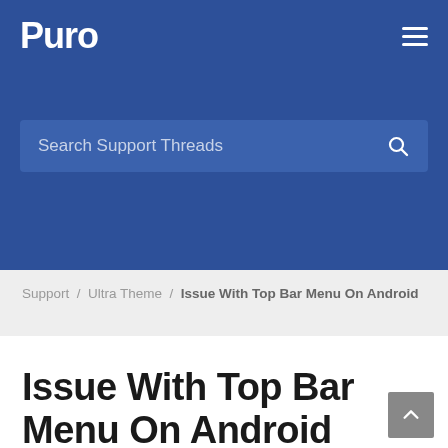Puro
[Figure (screenshot): Search Support Threads search bar on blue background]
Support / Ultra Theme / Issue With Top Bar Menu On Android
Issue With Top Bar Menu On Android